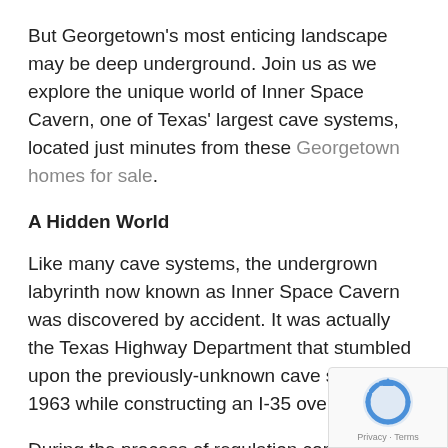But Georgetown's most enticing landscape may be deep underground. Join us as we explore the unique world of Inner Space Cavern, one of Texas' largest cave systems, located just minutes from these Georgetown homes for sale.
A Hidden World
Like many cave systems, the undergrown labyrinth now known as Inner Space Cavern was discovered by accident. It was actually the Texas Highway Department that stumbled upon the previously-unknown cave system in 1963 while constructing an I-35 overpass.
During the process of regulation core testing, the construction crew inadvertently drilled into the cave eight times. Unable to find any other access to what they knew they had found, they drilled a 2-f wide hole down 33.5 feet through the limestone
[Figure (other): reCAPTCHA badge with Google logo and Privacy - Terms text]